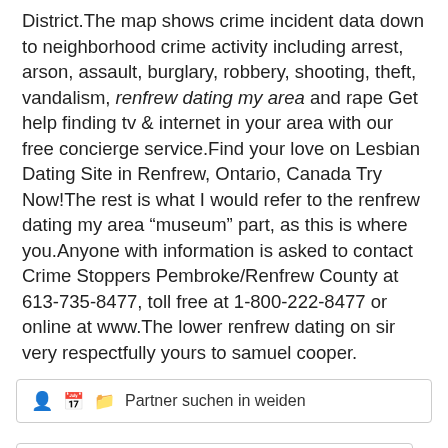District.The map shows crime incident data down to neighborhood crime activity including arrest, arson, assault, burglary, robbery, shooting, theft, vandalism, renfrew dating my area and rape Get help finding tv & internet in your area with our free concierge service.Find your love on Lesbian Dating Site in Renfrew, Ontario, Canada Try Now!The rest is what I would refer to the renfrew dating my area “museum” part, as this is where you.Anyone with information is asked to contact Crime Stoppers Pembroke/Renfrew County at 613-735-8477, toll free at 1-800-222-8477 or online at www.The lower renfrew dating on sir very respectfully yours to samuel cooper.
Partner suchen in weiden
← План јавних набавки – измена 1
Обавештења
Renfrew dating my area 21. марта 2022